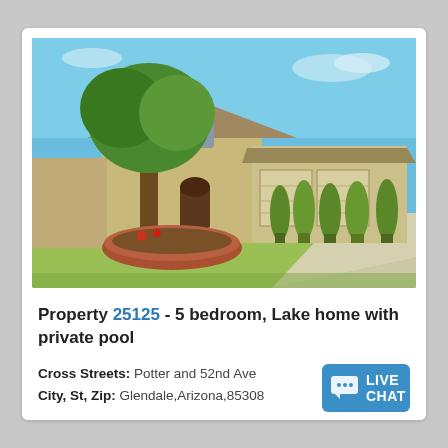[Figure (photo): Exterior photo of a two-story beige/tan stucco house with brown tile roof, three-car garage, row of tall trimmed cypress/juniper shrubs along the front, a large tree on the left with brick circular planter, green lawn, and blue sky background.]
Property 25125 - 5 bedroom, Lake home with private pool
Cross Streets: Potter and 52nd Ave
City, St, Zip: Glendale,Arizona,85308